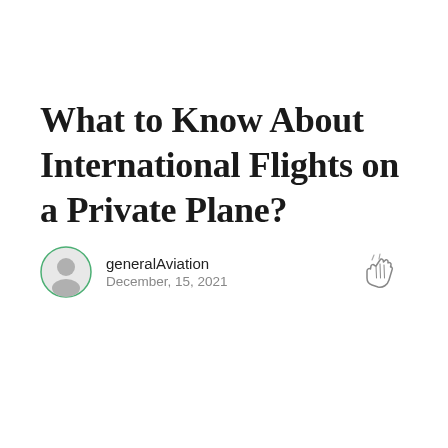What to Know About International Flights on a Private Plane?
generalAviation
December, 15, 2021